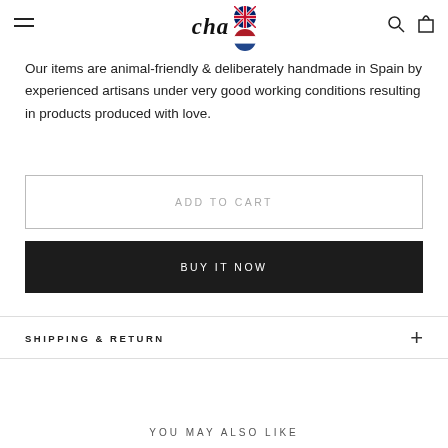cha [UK flag] [NL flag]
Our items are animal-friendly & deliberately handmade in Spain by experienced artisans under very good working conditions resulting in products produced with love.
ADD TO CART
BUY IT NOW
SHIPPING & RETURN
YOU MAY ALSO LIKE